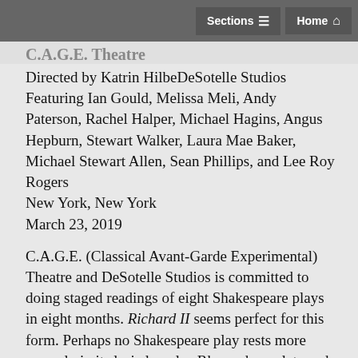Sections  Home
C.A.G.E. Theatre
Directed by Katrin HilbeDeSotelle Studios
Featuring Ian Gould, Melissa Meli, Andy Paterson, Rachel Halper, Michael Hagins, Angus Hepburn, Stewart Walker, Laura Mae Baker, Michael Stewart Allen, Sean Phillips, and Lee Roy Rogers
New York, New York
March 23, 2019
C.A.G.E. (Classical Avant-Garde Experimental) Theatre and DeSotelle Studios is committed to doing staged readings of eight Shakespeare plays in eight months. Richard II seems perfect for this form. Perhaps no Shakespeare play rests more securely in its lyric laurels.  Rhymed couplets and parallel constructions abound for listening pleasure. The cast took full advantage under Katrin